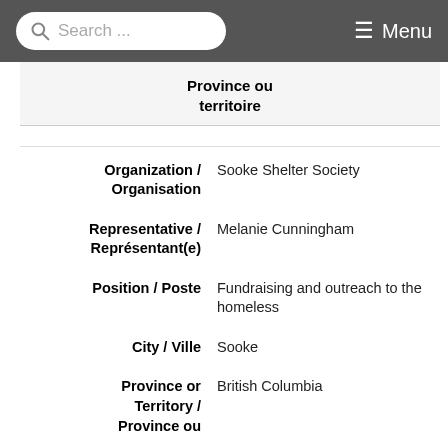Search ... Menu
| Label | Value |
| --- | --- |
| Province ou territoire |  |
| Organization / Organisation | Sooke Shelter Society |
| Representative / Représentant(e) | Melanie Cunningham |
| Position / Poste | Fundraising and outreach to the homeless |
| City / Ville | Sooke |
| Province or Territory / Province ou | British Columbia |